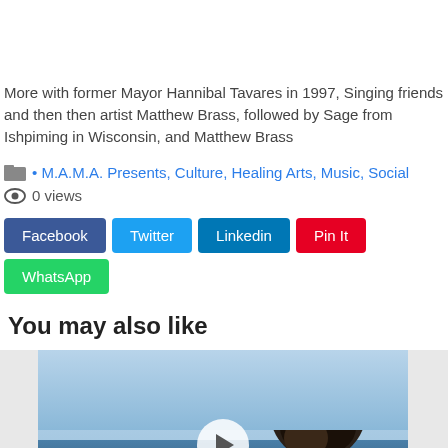More with former Mayor Hannibal Tavares in 1997, Singing friends and then then artist Matthew Brass, followed by Sage from Ishpiming in Wisconsin, and Matthew Brass
• M.A.M.A. Presents, Culture, Healing Arts, Music, Social
0 views
Facebook Twitter Linkedin Pin It WhatsApp
You may also like
[Figure (photo): Video thumbnail showing a person wearing a white hat outdoors with a play button overlay, sky and ocean in background]